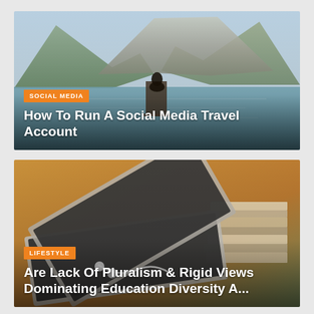[Figure (photo): Person sitting on a dock over a calm mountain lake surrounded by steep rocky mountains and forest, reflected in still water.]
SOCIAL MEDIA
How To Run A Social Media Travel Account
[Figure (photo): Close-up of an open laptop with headphones, stacked books and notebooks in the background on a desk, warm blurred background.]
LIFESTYLE
Are Lack Of Pluralism & Rigid Views Dominating Education Diversity A...